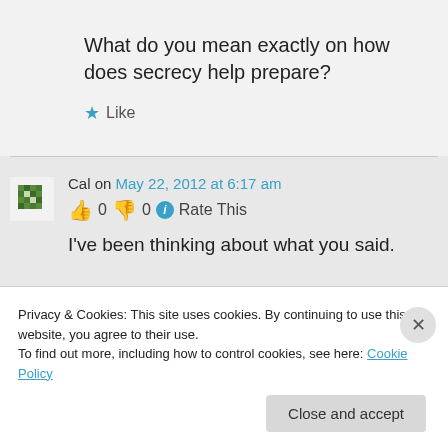What do you mean exactly on how does secrecy help prepare?
★ Like
Cal on May 22, 2012 at 6:17 am
👍 0 👎 0 ℹ Rate This
I've been thinking about what you said.
Privacy & Cookies: This site uses cookies. By continuing to use this website, you agree to their use.
To find out more, including how to control cookies, see here: Cookie Policy
Close and accept